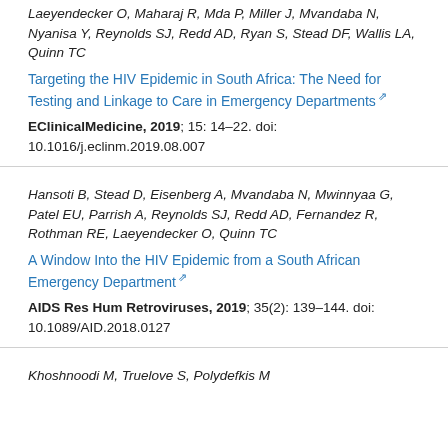Laeyendecker O, Maharaj R, Mda P, Miller J, Mvandaba N, Nyanisa Y, Reynolds SJ, Redd AD, Ryan S, Stead DF, Wallis LA, Quinn TC
Targeting the HIV Epidemic in South Africa: The Need for Testing and Linkage to Care in Emergency Departments
EClinicalMedicine, 2019; 15: 14–22. doi: 10.1016/j.eclinm.2019.08.007
Hansoti B, Stead D, Eisenberg A, Mvandaba N, Mwinnyaa G, Patel EU, Parrish A, Reynolds SJ, Redd AD, Fernandez R, Rothman RE, Laeyendecker O, Quinn TC
A Window Into the HIV Epidemic from a South African Emergency Department
AIDS Res Hum Retroviruses, 2019; 35(2): 139–144. doi: 10.1089/AID.2018.0127
Khoshnoodi M, Truelove S, Polydefkis M